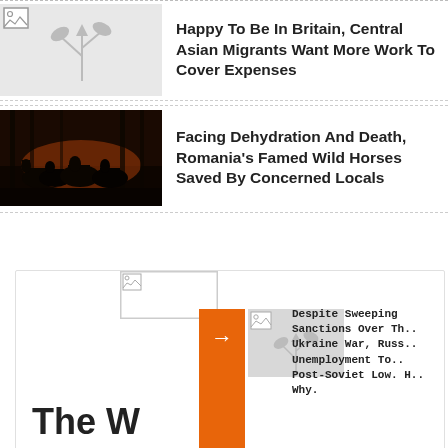[Figure (photo): Placeholder broken image icon on grey background (article thumbnail for Central Asian Migrants story)]
Happy To Be In Britain, Central Asian Migrants Want More Work To Cover Expenses
[Figure (photo): Silhouetted wild horses running at dusk/dawn in a forest setting (Romania wild horses article thumbnail)]
Facing Dehydration And Death, Romania's Famed Wild Horses Saved By Concerned Locals
[Figure (photo): Card section with broken image placeholders, orange arrow bar, and partial article title 'The W']
Despite Sweeping Sanctions Over The Ukraine War, Russia's Unemployment Touches Post-Soviet Low. Here's Why.